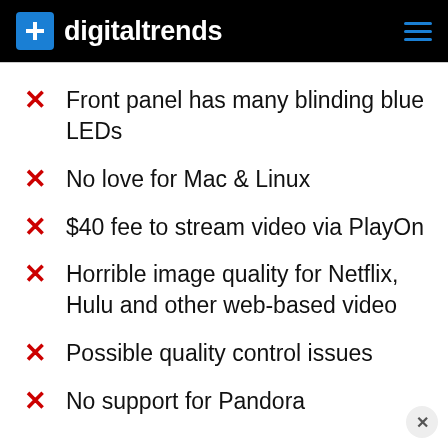digitaltrends
Front panel has many blinding blue LEDs
No love for Mac & Linux
$40 fee to stream video via PlayOn
Horrible image quality for Netflix, Hulu and other web-based video
Possible quality control issues
No support for Pandora